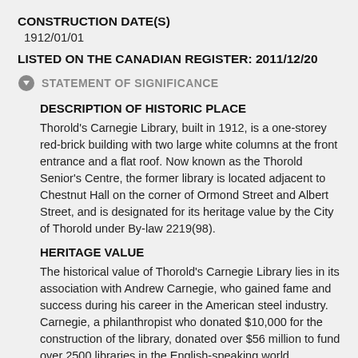CONSTRUCTION DATE(S)
1912/01/01
LISTED ON THE CANADIAN REGISTER: 2011/12/20
STATEMENT OF SIGNIFICANCE
DESCRIPTION OF HISTORIC PLACE
Thorold's Carnegie Library, built in 1912, is a one-storey red-brick building with two large white columns at the front entrance and a flat roof. Now known as the Thorold Senior's Centre, the former library is located adjacent to Chestnut Hall on the corner of Ormond Street and Albert Street, and is designated for its heritage value by the City of Thorold under By-law 2219(98).
HERITAGE VALUE
The historical value of Thorold's Carnegie Library lies in its association with Andrew Carnegie, who gained fame and success during his career in the American steel industry. Carnegie, a philanthropist who donated $10,000 for the construction of the library, donated over $56 million to fund over 2500 libraries in the English-speaking world throughout the early 1900s. Carnegie's generosity allowed several communities across Canada to have a